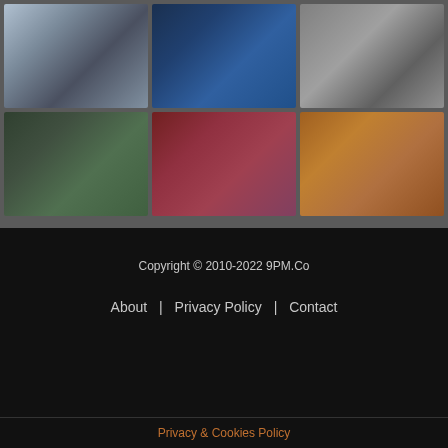[Figure (photo): Grid of 6 photos: people shopping, circuit board, machinery/equipment, greenhouse with solar panel, high-speed train, colorful fruits and drinks]
Copyright © 2010-2022 9PM.Co
About | Privacy Policy | Contact
Privacy & Cookies Policy